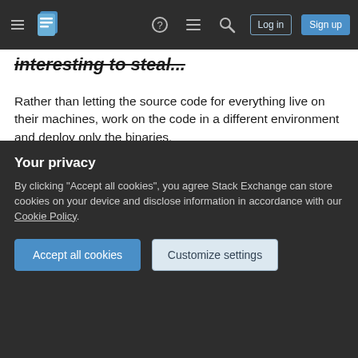Stack Exchange navigation bar with Log in and Sign up buttons
interesting to steal...
Rather than letting the source code for everything live on their machines, work on the code in a different environment and deploy only the binaries.
This should prevent anyone from copying your work as they cannot update the binaries, if you are really paranoid you could even put a time bomb in the logic to make sure things stop working even if they copy the current version.
Keep in mind that even if a sizable amount of your...
Your privacy
By clicking "Accept all cookies", you agree Stack Exchange can store cookies on your device and disclose information in accordance with our Cookie Policy.
Accept all cookies
Customize settings